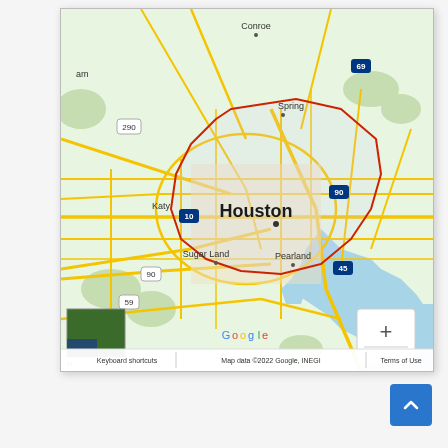[Figure (map): Google Map showing the Houston, Texas metropolitan area with a red boundary polygon around the city of Houston. Shows surrounding cities including Conroe, Spring, Katy, Sugar Land, Pearland, Galveston, and Campo. Highway markers visible include 290, 10, 90, 69, 59, 45. Zoom controls (+/-) are shown in lower right. A satellite thumbnail is in the lower left. Google logo is visible. Footer reads: Keyboard shortcuts | Map data ©2022 Google, INEGI | Terms of Use]
Keyboard shortcuts | Map data ©2022 Google, INEGI | Terms of Use